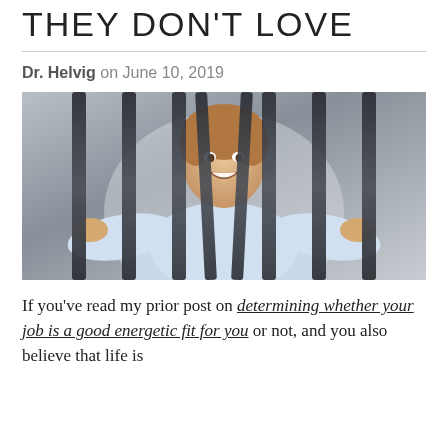THEY DON'T LOVE
Dr. Helvig on June 10, 2019
[Figure (photo): Woman smiling and pulling apart metal bars, as if escaping from a cage or prison, wearing a light blue shirt, photo taken indoors against a grey background.]
If you've read my prior post on determining whether your job is a good energetic fit for you or not, and you also believe that life is